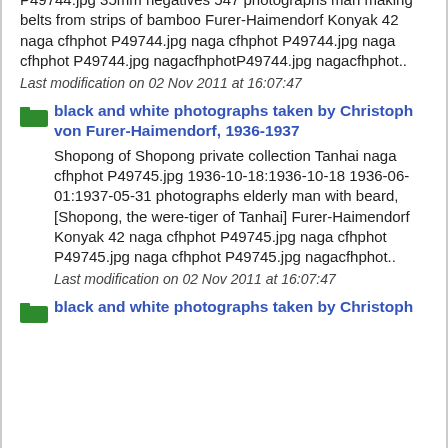P49744.jpg 35mm negatives 547 photographs man making belts from strips of bamboo Furer-Haimendorf Konyak 42 naga cfhphot P49744.jpg naga cfhphot P49744.jpg naga cfhphot P49744.jpg nagacfhphotP49744.jpg nagacfhphot..
Last modification on 02 Nov 2011 at 16:07:47
black and white photographs taken by Christoph von Furer-Haimendorf, 1936-1937
Shopong of Shopong private collection Tanhai naga cfhphot P49745.jpg 1936-10-18:1936-10-18 1936-06-01:1937-05-31 photographs elderly man with beard, [Shopong, the were-tiger of Tanhai] Furer-Haimendorf Konyak 42 naga cfhphot P49745.jpg naga cfhphot P49745.jpg naga cfhphot P49745.jpg nagacfhphot..
Last modification on 02 Nov 2011 at 16:07:47
black and white photographs taken by Christoph